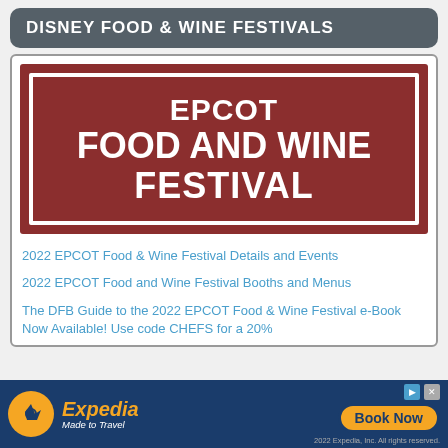DISNEY FOOD & WINE FESTIVALS
[Figure (logo): EPCOT Food and Wine Festival logo — dark red background with white border and white bold text reading EPCOT FOOD AND WINE FESTIVAL]
2022 EPCOT Food & Wine Festival Details and Events
2022 EPCOT Food and Wine Festival Booths and Menus
The DFB Guide to the 2022 EPCOT Food & Wine Festival e-Book Now Available! Use code CHEFS for a 20%
[Figure (infographic): Expedia advertisement banner — dark blue background with orange Expedia logo, Made to Travel tagline, Book Now button, and copyright 2022 Expedia Inc.]